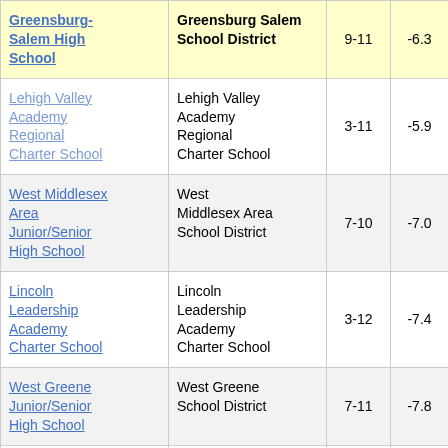| School | District | Grades | Score |  |
| --- | --- | --- | --- | --- |
| Greensburg-Salem High School | Greensburg Salem School District | 9-11 | -6.3 | 2 |
| Lehigh Valley Academy Regional Charter School | Lehigh Valley Academy Regional Charter School | 3-11 | -5.9 |  |
| West Middlesex Area Junior/Senior High School | West Middlesex Area School District | 7-10 | -7.0 |  |
| Lincoln Leadership Academy Charter School | Lincoln Leadership Academy Charter School | 3-12 | -7.4 |  |
| West Greene Junior/Senior High School | West Greene School District | 7-11 | -7.8 |  |
| Elmer L Meyers Junior/Senior High School | Wilkes-Barre Area School District | 7-11 | -11.1 |  |